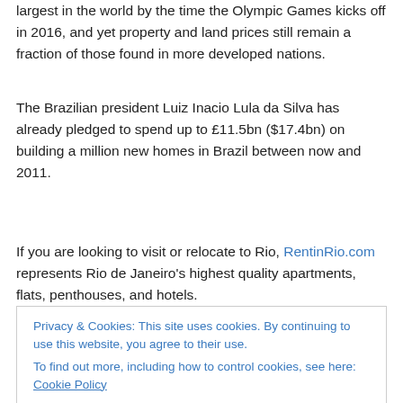largest in the world by the time the Olympic Games kicks off in 2016, and yet property and land prices still remain a fraction of those found in more developed nations.
The Brazilian president Luiz Inacio Lula da Silva has already pledged to spend up to £11.5bn ($17.4bn) on building a million new homes in Brazil between now and 2011.
If you are looking to visit or relocate to Rio, RentinRio.com represents Rio de Janeiro's highest quality apartments, flats, penthouses, and hotels.
Privacy & Cookies: This site uses cookies. By continuing to use this website, you agree to their use.
To find out more, including how to control cookies, see here: Cookie Policy
Close and accept